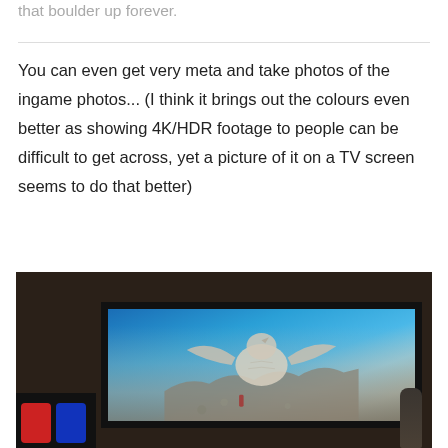push on and the near-tireless Sisyphus is in for rolling that boulder up forever.
You can even get very meta and take photos of the ingame photos... (I think it brings out the colours even better as showing 4K/HDR footage to people can be difficult to get across, yet a picture of it on a TV screen seems to do that better)
[Figure (photo): A photo of a large TV screen mounted on a wall in a dark room, displaying a video game scene with a large white stone bird/eagle statue against a blue sky and rocky terrain. A Nintendo Switch console is visible at the bottom left, and a dark figurine is on the right side of the TV.]